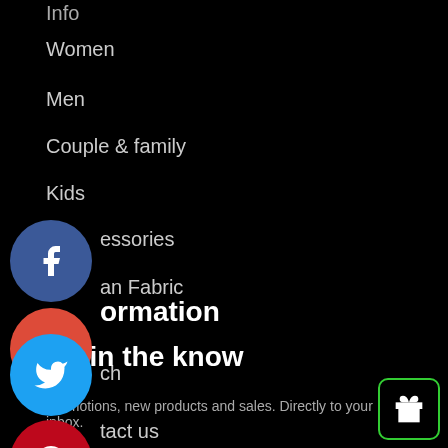Info
Women
Men
Couple & family
Kids
Accessories
Linen Fabric
Information
Search
Contact us
Frequently Asked Questions
[Figure (logo): Facebook social share button - blue circle with white F]
[Figure (logo): Google+ social share button - red circle with white G+]
[Figure (logo): Twitter social share button - blue circle with white bird icon]
[Figure (logo): Pinterest social share button - red circle with white P]
Be in the know
Promotions, new products and sales. Directly to your inbox.